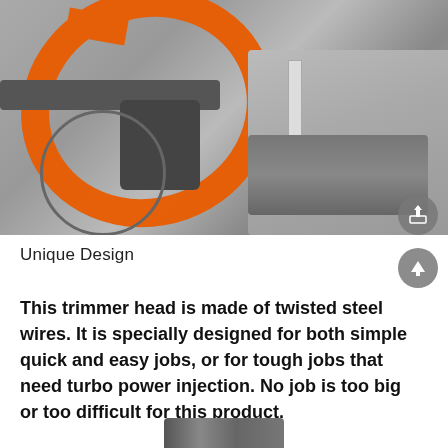[Figure (photo): Grayscale photo of a trimmer head with orange circular ring handle, mechanical components, and a hand holding a measuring tape on the right side]
Unique Design
This trimmer head is made of twisted steel wires. It is specially designed for both simple quick and easy jobs, or for tough jobs that need turbo power injection. No job is too big or too difficult for this product.
[Figure (photo): Partial bottom image of the trimmer product]